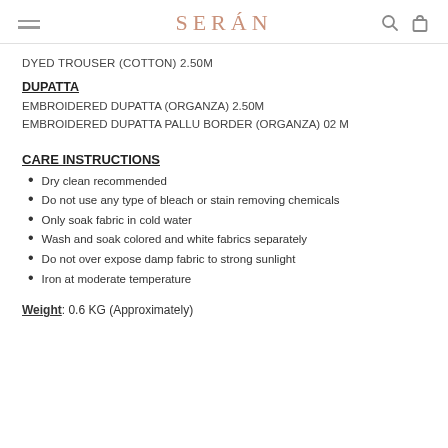SERÁN
DYED TROUSER (COTTON) 2.50M
DUPATTA
EMBROIDERED DUPATTA (ORGANZA) 2.50M
EMBROIDERED DUPATTA PALLU BORDER (ORGANZA) 02 M
CARE INSTRUCTIONS
Dry clean recommended
Do not use any type of bleach or stain removing chemicals
Only soak fabric in cold water
Wash and soak colored and white fabrics separately
Do not over expose damp fabric to strong sunlight
Iron at moderate temperature
Weight: 0.6 KG (Approximately)